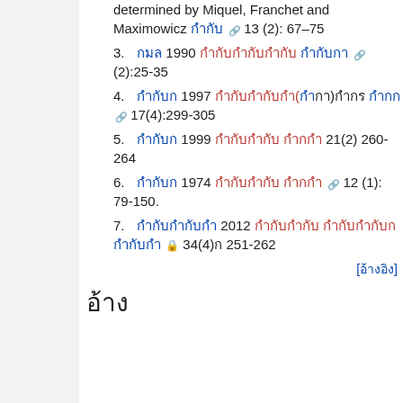determined by Miquel, Franchet and Maximowicz [link] 13 (2): 67–75
3. [text] 1990 [link] [link] (2):25-35
4. [text] 1997 [link]([link])[text] [link] 17(4):299-305
5. [text] 1999 [link] [text] 21(2) 260-264
6. [text] 1974 [link] [link] 12 (1): 79-150.
7. [text] 2012 [link] [link] [lock] 34(4)[ 251-262
[อ้างอิง]
อ้างอิง